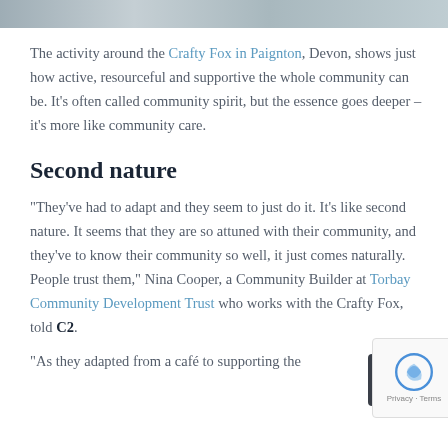[Figure (photo): Partial strip of a photo at the top of the page, showing a cropped scene]
The activity around the Crafty Fox in Paignton, Devon, shows just how active, resourceful and supportive the whole community can be. It's often called community spirit, but the essence goes deeper – it's more like community care.
Second nature
“They’ve had to adapt and they seem to just do it. It's like second nature. It seems that they are so attuned with their community, and they’ve to know their community so well, it just comes naturally. People trust them,” Nina Cooper, a Community Builder at Torbay Community Development Trust who works with the Crafty Fox, told C2.
“As they adapted from a café to supporting the